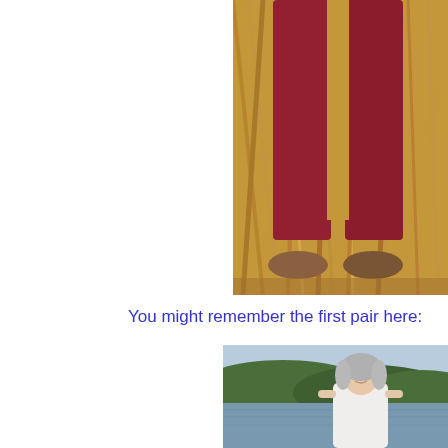[Figure (photo): Close-up photo of person's legs in red/burgundy pants standing in front of dry golden grass, wearing brown shoes. Photo is cropped showing only the lower body.]
You might remember the first pair here:
[Figure (photo): Photo of a woman with gray/silver hair wearing a white top, standing outdoors near a lake with green tree-covered hills in the background.]